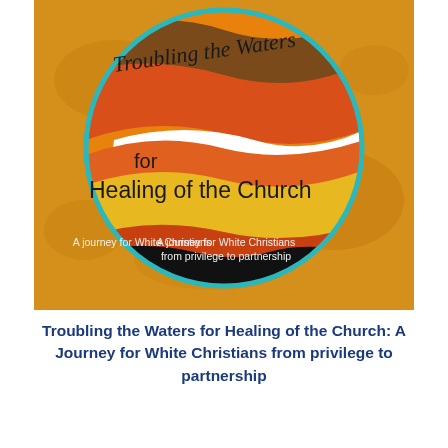[Figure (illustration): Book cover illustration: A circle divided into flowing wave-like bands in brown, orange, red, white, yellow/gold, and black colors, outlined in teal/turquoise. Text inside reads 'Troubling the Waters for Healing of the Church' and 'A journey for White Christians from privilege to partnership'. Background is a golden/amber texture.]
Troubling the Waters for Healing of the Church: A Journey for White Christians from privilege to partnership